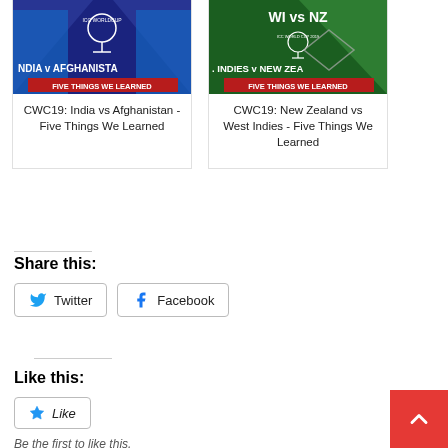[Figure (photo): Cricket World Cup 2019 thumbnail: India v Afghanistan - Five Things We Learned]
CWC19: India vs Afghanistan - Five Things We Learned
[Figure (photo): Cricket World Cup 2019 thumbnail: West Indies v New Zealand - Five Things We Learned]
CWC19: New Zealand vs West Indies - Five Things We Learned
Share this:
Twitter
Facebook
Like this:
Like
Be the first to like this.